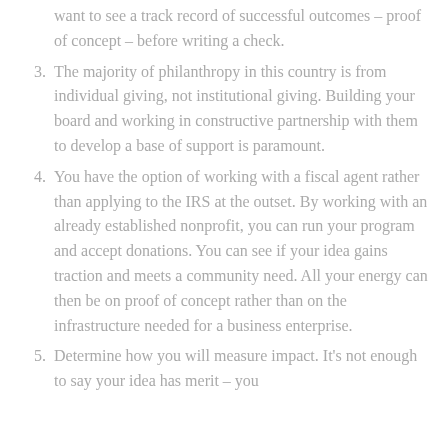(continuation) want to see a track record of successful outcomes – proof of concept – before writing a check.
3. The majority of philanthropy in this country is from individual giving, not institutional giving. Building your board and working in constructive partnership with them to develop a base of support is paramount.
4. You have the option of working with a fiscal agent rather than applying to the IRS at the outset. By working with an already established nonprofit, you can run your program and accept donations. You can see if your idea gains traction and meets a community need. All your energy can then be on proof of concept rather than on the infrastructure needed for a business enterprise.
5. Determine how you will measure impact. It's not enough to say your idea has merit – you